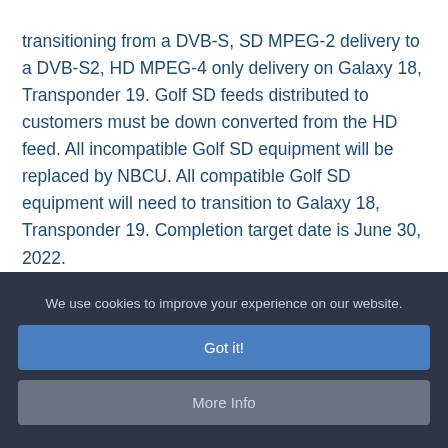transitioning from a DVB-S, SD MPEG-2 delivery to a DVB-S2, HD MPEG-4 only delivery on Galaxy 18, Transponder 19. Golf SD feeds distributed to customers must be down converted from the HD feed. All incompatible Golf SD equipment will be replaced by NBCU. All compatible Golf SD equipment will need to transition to Galaxy 18, Transponder 19. Completion target date is June 30, 2022.
We use cookies to improve your experience on our website.
Got it!
More Info